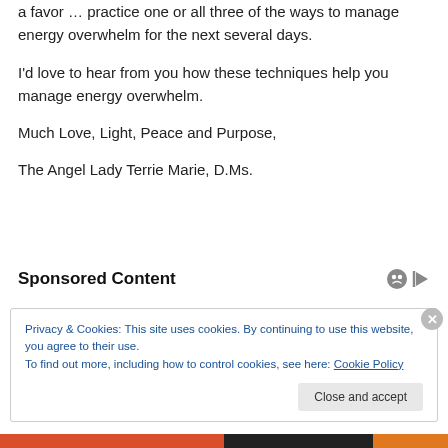a favor … practice one or all three of the ways to manage energy overwhelm for the next several days.
I'd love to hear from you how these techniques help you manage energy overwhelm.
Much Love, Light, Peace and Purpose,
The Angel Lady Terrie Marie, D.Ms.
Sponsored Content
Privacy & Cookies: This site uses cookies. By continuing to use this website, you agree to their use.
To find out more, including how to control cookies, see here: Cookie Policy
Close and accept